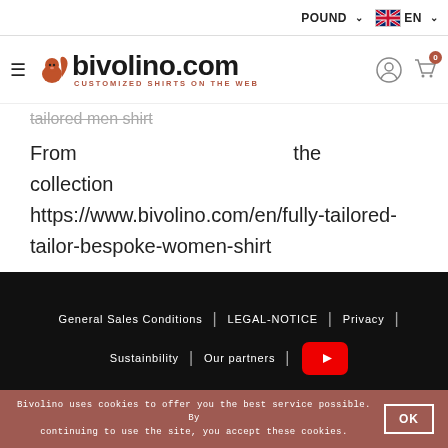POUND  EN
[Figure (logo): Bivolino.com logo with squirrel icon and tagline CUSTOMIZED SHIRTS ON THE WEB]
tailored men shirt
From the collection https://www.bivolino.com/en/fully-tailored-tailor-bespoke-women-shirt
[Figure (screenshot): Dark footer section with links: General Sales Conditions | LEGAL-NOTICE | Privacy | Sustainbility | Our partners | YouTube button]
Bivolino uses cookies to offer you the best service possible. By continuing to use the site, you accept these cookies.